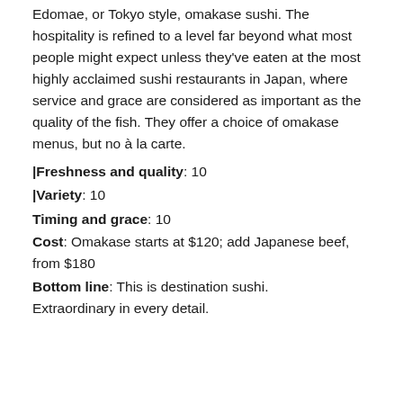Edomae, or Tokyo style, omakase sushi. The hospitality is refined to a level far beyond what most people might expect unless they've eaten at the most highly acclaimed sushi restaurants in Japan, where service and grace are considered as important as the quality of the fish. They offer a choice of omakase menus, but no à la carte.
|Freshness and quality: 10
|Variety: 10
Timing and grace: 10
Cost: Omakase starts at $120; add Japanese beef, from $180
Bottom line: This is destination sushi. Extraordinary in every detail.